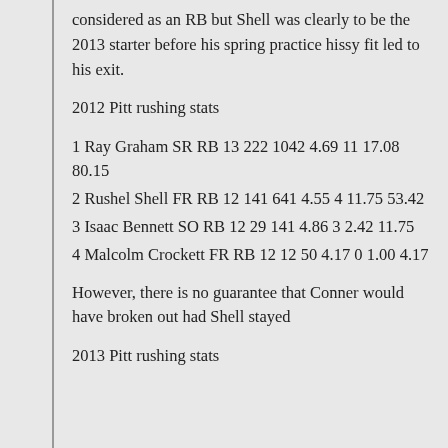considered as an RB but Shell was clearly to be the 2013 starter before his spring practice hissy fit led to his exit.
2012 Pitt rushing stats
1 Ray Graham SR RB 13 222 1042 4.69 11 17.08 80.15
2 Rushel Shell FR RB 12 141 641 4.55 4 11.75 53.42
3 Isaac Bennett SO RB 12 29 141 4.86 3 2.42 11.75
4 Malcolm Crockett FR RB 12 12 50 4.17 0 1.00 4.17
However, there is no guarantee that Conner would have broken out had Shell stayed
2013 Pitt rushing stats